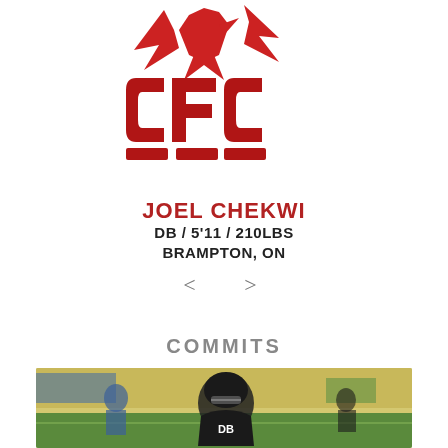[Figure (logo): CFC (Canucks Football Community) logo with red bird/eagle and bold red CFC lettering]
JOEL CHEKWI
DB / 5'11 / 210LBS
BRAMPTON, ON
< >
COMMITS
[Figure (photo): Football player in black helmet and uniform on a field with other players and green/yellow stadium background]